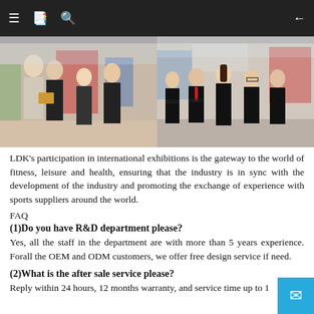≡  📋  🔍  ←
[Figure (photo): Two photos side by side showing people at an international trade exhibition. Left photo: two Western men and two Asian women in business attire at an exhibition booth. Right photo: group of five Asian professionals in black suits posing at an exhibition.]
LDK's participation in international exhibitions is the gateway to the world of fitness, leisure and health, ensuring that the industry is in sync with the development of the industry and promoting the exchange of experience with sports suppliers around the world.
FAQ
(1)Do you have R&D department please?
Yes, all the staff in the department are with more than 5 years experience. Forall the OEM and ODM customers, we offer free design service if need.
(2)What is the after sale service please?
Reply within 24 hours, 12 months warranty, and service time up to 1